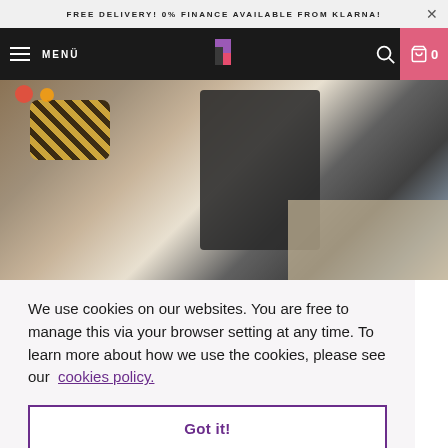FREE DELIVERY! 0% FINANCE AVAILABLE FROM KLARNA!
[Figure (screenshot): Website navigation bar with hamburger menu (MENÜ), stylized R logo, search icon, and pink cart button showing 0 items]
[Figure (photo): Photo of a baby stroller/pram with colorful toys and stuffed tiger, on a rug in a home setting]
We use cookies on our websites. You are free to manage this via your browser setting at any time. To learn more about how we use the cookies, please see our cookies policy.
Got it!
Simon Peters